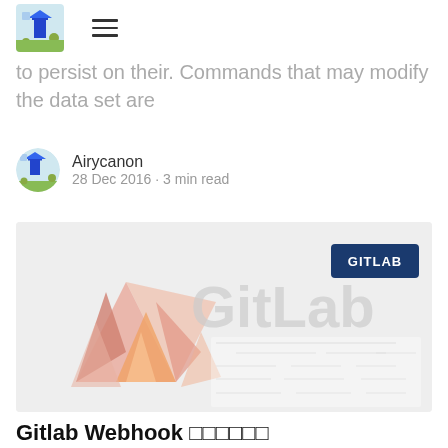Airycanon blog navigation header with logo and hamburger menu
to persist on their. Commands that may modify the data set are
Airycanon
28 Dec 2016 · 3 min read
[Figure (photo): GitLab banner image showing the GitLab fox logo and the GitLab wordmark on a light grey background, with a dark blue GITLAB badge in the top-right corner, and blurred form/table content in the lower portion]
Gitlab Webhook ������